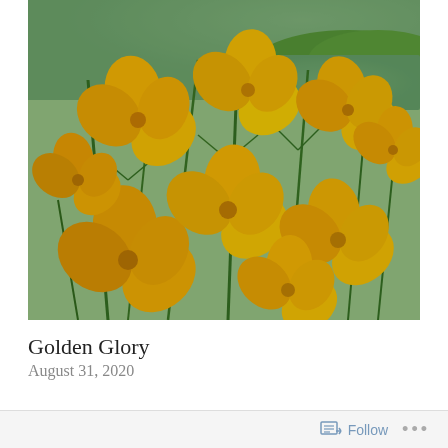[Figure (photo): Close-up photograph of bright orange-yellow California poppy flowers (Eschscholzia californica) with green feathery foliage. A body of water and green hillside are visible in the background.]
Golden Glory
August 31, 2020
Follow ...